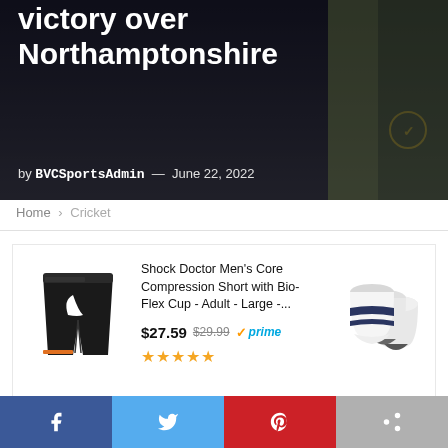lead Birmingham Bears to victory over Northamptonshire
by BVCSportsAdmin — June 22, 2022
Home > Cricket
[Figure (other): Amazon ad: Shock Doctor Men's Core Compression Short with Bio-Flex Cup - Adult - Large - ... $27.59 $29.99 prime ★★★★★ with product image and socks image. Ads by Amazon.]
[Figure (other): Social share buttons: Facebook, Twitter, Pinterest, Share (grey)]